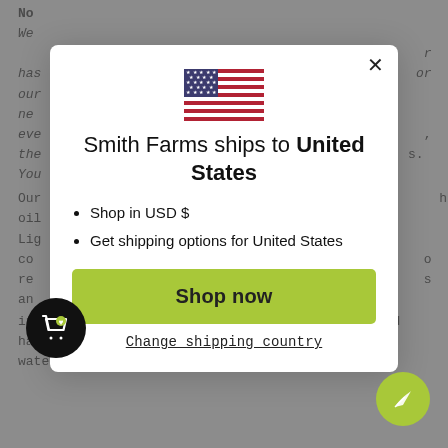No ... We ... has ... or our ... ne ... eve ... the ... s. You ...
Our ... h oil Lig ... co ... re ... s an intensive conditioning treatment for dry, damaged hair. Add to water for a fragrant and moisturizing bath.
[Figure (screenshot): Modal dialog showing US flag, text 'Smith Farms ships to United States', bullet points for USD and shipping, a green Shop now button, and a Change shipping country link. Background shows greyed-out product page text.]